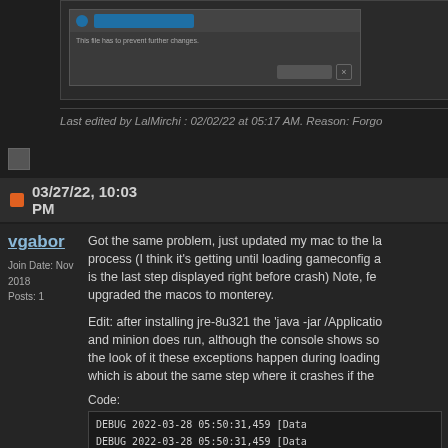[Figure (screenshot): Dark-themed application dialog screenshot showing a toggle/button interface]
Last edited by LalMirchi : 02/02/22 at 05:17 AM. Reason: Forgo
03/27/22, 10:03 PM
vgabor
Join Date: Nov 2018
Posts: 1
Got the same problem, just updated my mac to the la process (I think it's getting until loading gameconfig a is the last step displayed right before crash) Note, fe upgraded the macos to monterey.

Edit: after installing jre-8u321 the 'java -jar /Applicatio and minion does run, although the console shows so the look of it these exceptions happen during loading which is about the same step where it crashes if the
Code:
DEBUG 2022-03-28 05:50:31,459 [Data
DEBUG 2022-03-28 05:50:31,459 [Data
Exception in thread "Thread-40" jav
        at java.util.HashMap$Ha****
        at java.util.HashMap$KeyIte
        at com.sun.javafx.collectio
        at java.util.Iterator.forE